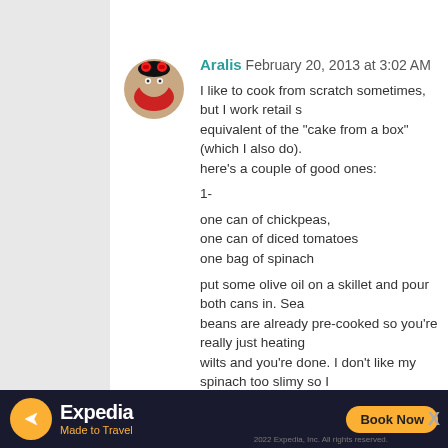Aralis  February 20, 2013 at 3:02 AM
I like to cook from scratch sometimes, but I work retail so equivalent of the "cake from a box" (which I also do). here's a couple of good ones:
1-
one can of chickpeas,
one can of diced tomatoes
one bag of spinach
put some olive oil on a skillet and pour both cans in. Sea beans are already pre-cooked so you're really just heating wilts and you're done. I don't like my spinach too slimy so I
2-
one bag of asian mixed vegetables ($1 at Target)
ginger sesame salad dressing
stir fry vegetables, season with salad dressing, serve over r
3-
one can of chilli
one box of Jiffy cornbread mix
open chilli and pour on baking dish (the kind you make
make cornbread mix according to directions
[Figure (infographic): Expedia advertisement banner with orange circle logo, 'Made to Travel' tagline, 'Book Now' button, and copyright text]